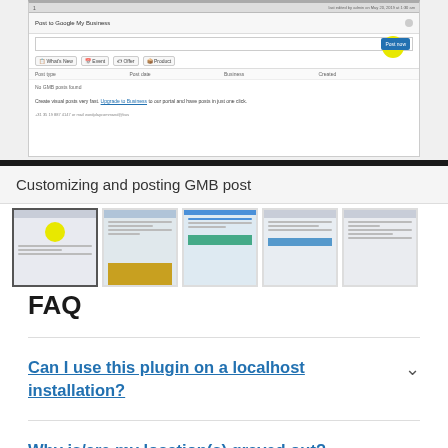[Figure (screenshot): Screenshot of a WordPress plugin interface showing 'Post to Google My Business' panel with tabs (What's New, Event, Offer, Product), a table with columns (Post type, Post date, Business, Created), 'No GMB posts found' message, and a yellow circle highlighting a blue button.]
Customizing and posting GMB post
[Figure (screenshot): Row of 5 thumbnail screenshots showing different views of the plugin interface]
FAQ
Can I use this plugin on a localhost installation?
Why is/are my location(s) grayed out?